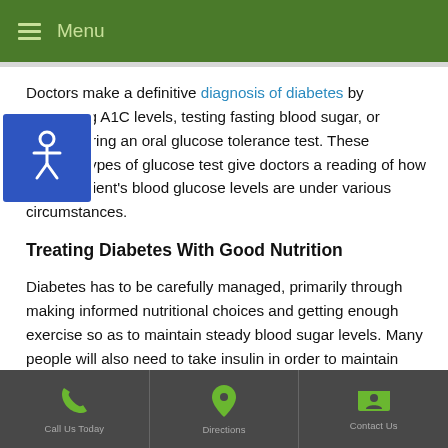Menu
Doctors make a definitive diagnosis of diabetes by measuring A1C levels, testing fasting blood sugar, or administering an oral glucose tolerance test. These different types of glucose test give doctors a reading of how high a patient's blood glucose levels are under various circumstances.
Treating Diabetes With Good Nutrition
Diabetes has to be carefully managed, primarily through making informed nutritional choices and getting enough exercise so as to maintain steady blood sugar levels. Many people will also need to take insulin in order to maintain normal glucose levels. Patients may be prescribed oral insulin, injectable insulin, or an automatic insulin pump. A primary care physician may be able to help with managing diabetes, but often people will also need to seek the advice of an
Call | Directions | Contact